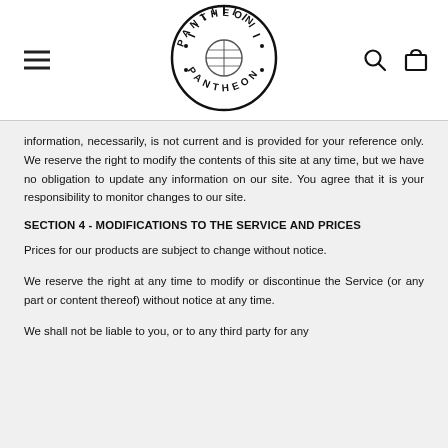Pantheon (logo)
information, necessarily, is not current and is provided for your reference only. We reserve the right to modify the contents of this site at any time, but we have no obligation to update any information on our site. You agree that it is your responsibility to monitor changes to our site.
SECTION 4 - MODIFICATIONS TO THE SERVICE AND PRICES
Prices for our products are subject to change without notice.
We reserve the right at any time to modify or discontinue the Service (or any part or content thereof) without notice at any time.
We shall not be liable to you, or to any third party for any